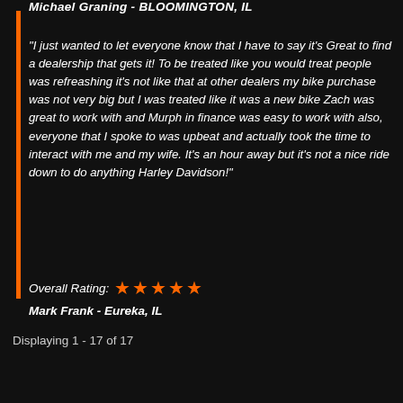Michael Graning - BLOOMINGTON, IL
"I just wanted to let everyone know that I have to say it's Great to find a dealership that gets it! To be treated like you would treat people was refreashing it's not like that at other dealers my bike purchase was not very big but I was treated like it was a new bike Zach was great to work with and Murph in finance was easy to work with also, everyone that I spoke to was upbeat and actually took the time to interact with me and my wife. It's an hour away but it's not a nice ride down to do anything Harley Davidson!"
Overall Rating: ★★★★★
Mark Frank - Eureka, IL
Displaying 1 - 17 of 17